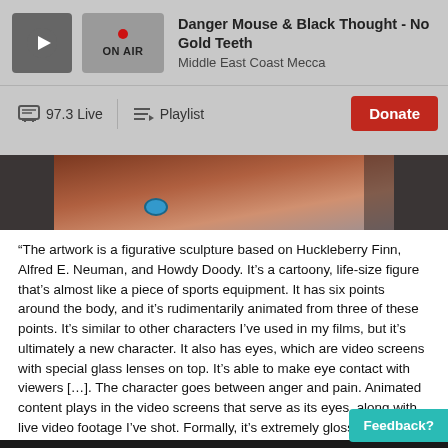Danger Mouse & Black Thought - No Gold Teeth | Middle East Coast Mecca
[Figure (screenshot): Radio player UI with ON AIR indicator, 97.3 Live and Playlist nav items, and Donate button]
[Figure (photo): Partial photo of a colorful figurative sculpture with blue eye visible, on a floor surface]
“The artwork is a figurative sculpture based on Huckleberry Finn, Alfred E. Neuman, and Howdy Doody. It’s a cartoony, life-size figure that’s almost like a piece of sports equipment. It has six points around the body, and it’s rudimentarily animated from three of these points. It’s similar to other characters I’ve used in my films, but it’s ultimately a new character. It also has eyes, which are video screens with special glass lenses on top. It’s able to make eye contact with viewers […]. The character goes between anger and pain. Animated content plays in the video screens that serve as its eyes, along with live video footage I’ve shot. Formally, it’s extremely glossy, reflective.” Jordan Wolson on “Colored Sculpture